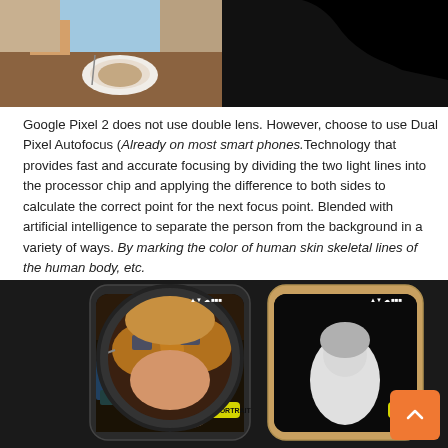[Figure (photo): Two side-by-side images: left shows a person eating at a table with a plate, right shows a dark silhouette/black background image]
Google Pixel 2 does not use double lens. However, choose to use Dual Pixel Autofocus (Already on most smart phones.Technology that provides fast and accurate focusing by dividing the two light lines into the processor chip and applying the difference to both sides to calculate the correct point for the next focus point. Blended with artificial intelligence to separate the person from the background in a variety of ways. By marking the color of human skin skeletal lines of the human body, etc.
[Figure (photo): Smartphone camera portrait mode demonstration showing two phones side by side, with a circular magnification overlay of a woman wearing sunglasses on the left phone, and the right phone showing a dark background portrait separation]